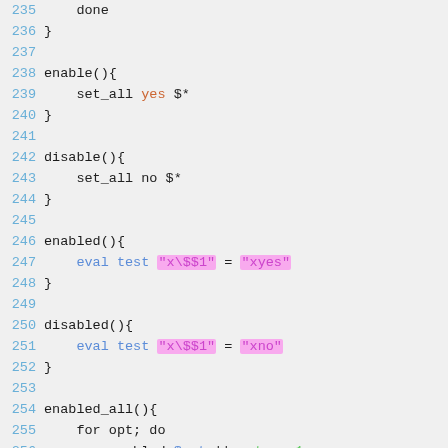235     done
236 }
237
238 enable(){
239     set_all yes $*
240 }
241
242 disable(){
243     set_all no $*
244 }
245
246 enabled(){
247     eval test "x\$$1" = "xyes"
248 }
249
250 disabled(){
251     eval test "x\$$1" = "xno"
252 }
253
254 enabled_all(){
255     for opt; do
256         enabled $opt || return 1
257     done
258 }
259